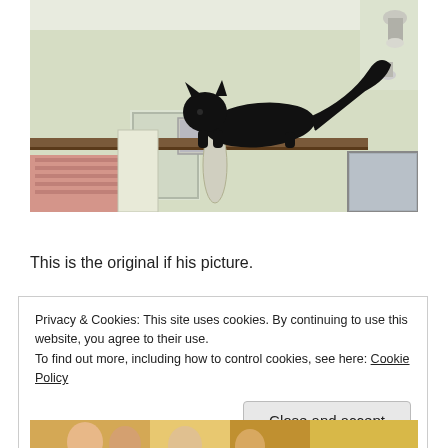[Figure (photo): A black cat silhouette standing on a long wooden shelf/ledge mounted high on a wall inside a home. The room has light green-yellow walls, a ceiling with a lamp, and furniture visible below including a pink striped cushion. Natural indoor lighting.]
Cat In A Glass Apple Spock Original
This is the original if his picture.
Privacy & Cookies: This site uses cookies. By continuing to use this website, you agree to their use.
To find out more, including how to control cookies, see here: Cookie Policy
[Figure (photo): Partial view of a group photo showing people smiling, partially cut off at the bottom of the page.]